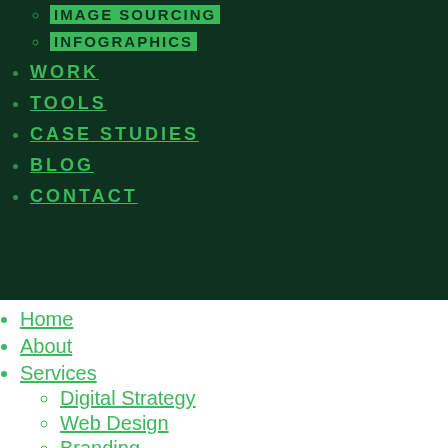IMAGE SOURCING (highlighted/active)
INFOGRAPHICS (highlighted/active)
WORK
TOOLS
CASE STUDIES
BLOG
CONTACT
Home
About
Services
Digital Strategy
Web Design
Branding
UX + UI Design
Naming